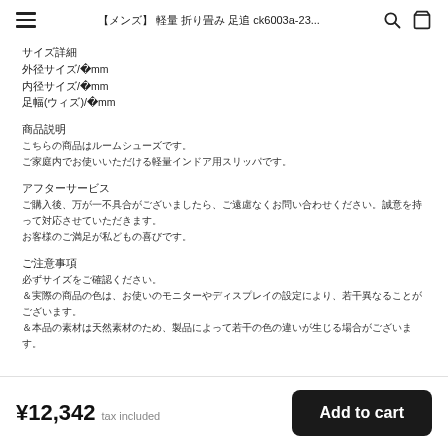【メンズ】 軽量 折り畳み ck6003a-23...
サイズ詳細
外径サイズ/約52mm
内径サイズ/約31mm
足幅(ウィズ)/約132mm
商品説明
こちらの商品はルームシューズです。
ご家庭内でお使いいただける軽量インドア用スリッパです。
アフターサービス
ご購入後、万が一不具合がございましたら、ご遠慮なくお問い合わせください。誠意を持って対応させていただきます。
お客様のご満足が私どもの喜びです。
ご注意事項
必ずサイズをご確認ください。
※実際の商品の色は、お使いのモニターやディスプレイの設定により、若干異なることがございます。
※本品の素材は天然素材のため、製品によって若干の色の違いが生じる場合がございます。
¥12,342 tax included  Add to cart